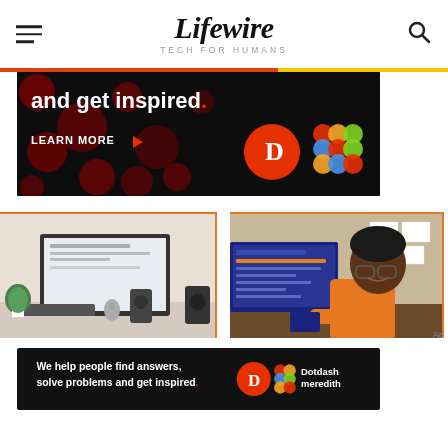Lifewire — TECH FOR HUMANS
[Figure (screenshot): Advertisement banner: 'and get inspired.' with LEARN MORE button and Dotdash Meredith logos on black background with red dot pattern]
[Figure (photo): Desktop computer setup with monitor, keyboard, speakers and plant]
[Figure (illustration): Illustration of a woman with glasses working at a computer in an office cubicle]
[Figure (screenshot): Bottom advertisement: 'We help people find answers, solve problems and get inspired.' with Dotdash Meredith logo]